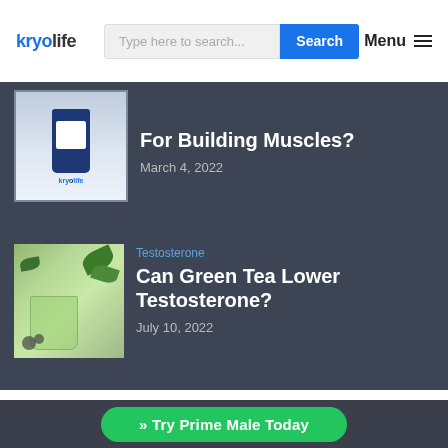kryolife | Type here to search... Search | Menu
[Figure (photo): Supplement bottle product image with kryolife branding]
Testosterone Booster For Building Muscles?
March 4, 2022
[Figure (photo): Green tea in a glass cup with tea leaves and seeds]
Testosterone
Can Green Tea Lower Testosterone?
July 10, 2022
Menu
About
» Try Prime Male Today